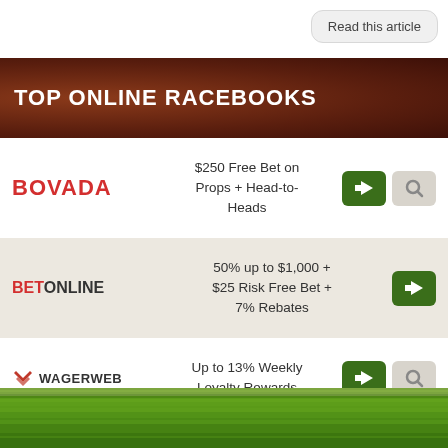Read this article
TOP ONLINE RACEBOOKS
BOVADA — $250 Free Bet on Props + Head-to-Heads
BETONLINE — 50% up to $1,000 + $25 Risk Free Bet + 7% Rebates
WAGERWEB — Up to 13% Weekly Loyalty Rewards
[Figure (photo): Green grass turf background at the bottom of the page]